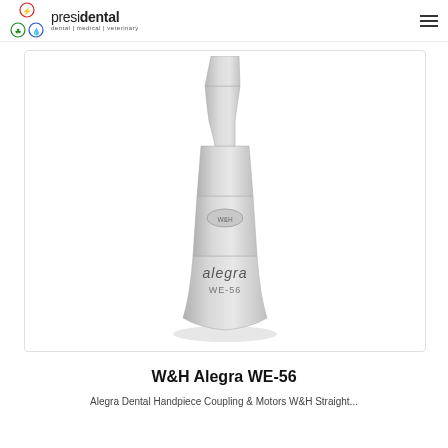presidental dental | medical | veterinary
[Figure (photo): W&H Alegra WE-56 dental handpiece attachment — silver/grey curved contra-angle attachment with 'alegra WE-56' branding and W&H logo badge, shown against white background inside a bordered product image box.]
W&H Alegra WE-56
Alegra Dental Handpiece Coupling & Motors W&H Straight...